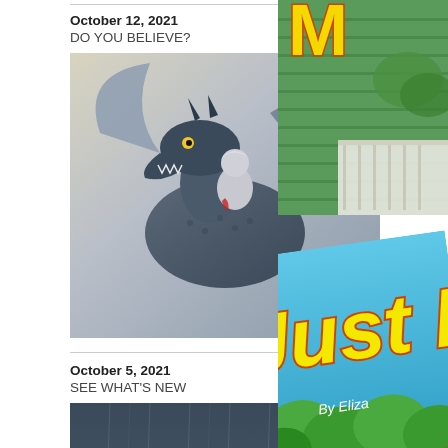October 12, 2021
DO YOU BELIEVE?
[Figure (illustration): A person riding a dark dragon, fantasy illustration with grey/blue tones]
October 5, 2021
SEE WHAT'S NEW
[Figure (illustration): A child holding an umbrella in the rain, colorful striped outfit, dark blue/grey rainy background]
[Figure (illustration): Right side: partial view of children's book cover with green siding house background]
[Figure (illustration): Right side bottom: partial view of children's book 'Just L...' by Eliza... with blue background and yellow text, tilted]